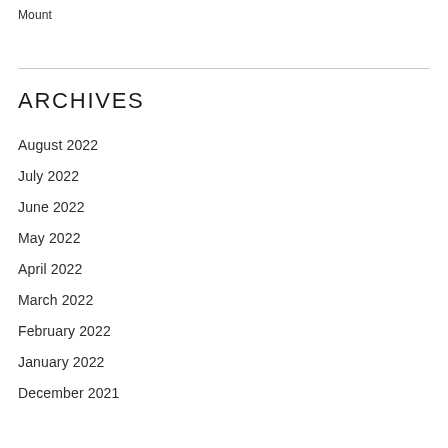Mount
ARCHIVES
August 2022
July 2022
June 2022
May 2022
April 2022
March 2022
February 2022
January 2022
December 2021